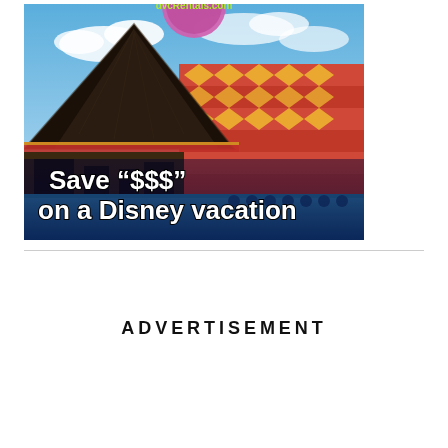[Figure (illustration): Advertisement image for dvcRentals.com showing a Disney resort building with a dramatic A-frame roof and colorful patterned facade against a blue sky. Overlaid text reads: dvcRentals.com, Save "$$$" on a Disney vacation.]
ADVERTISEMENT